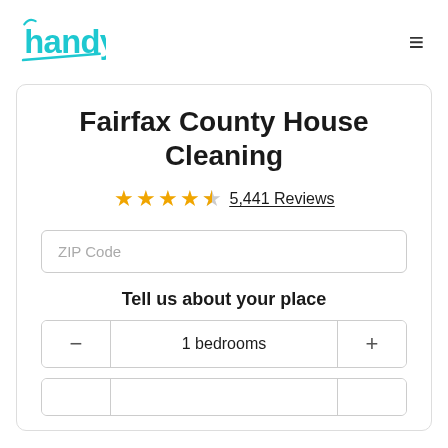[Figure (logo): Handy logo in cyan/turquoise color with underline accent]
Fairfax County House Cleaning
★★★★☆ 5,441 Reviews
ZIP Code
Tell us about your place
1 bedrooms